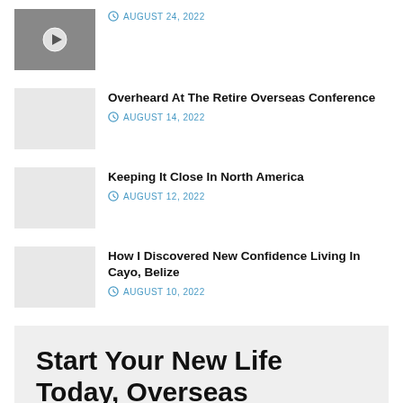AUGUST 24, 2022
Overheard At The Retire Overseas Conference
AUGUST 14, 2022
Keeping It Close In North America
AUGUST 12, 2022
How I Discovered New Confidence Living In Cayo, Belize
AUGUST 10, 2022
Start Your New Life Today, Overseas